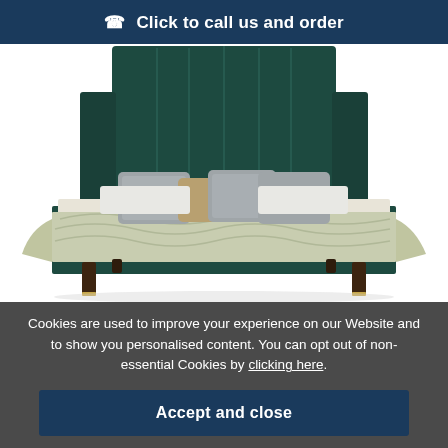Click to call us and order
[Figure (photo): A dark teal/green upholstered bed with tall channeled headboard, decorative pillows in gold and grey, light sage green textured bedspread, and tapered dark wood legs with gold feet tips, photographed on a white background.]
Cookies are used to improve your experience on our Website and to show you personalised content. You can opt out of non-essential Cookies by clicking here.
Accept and close